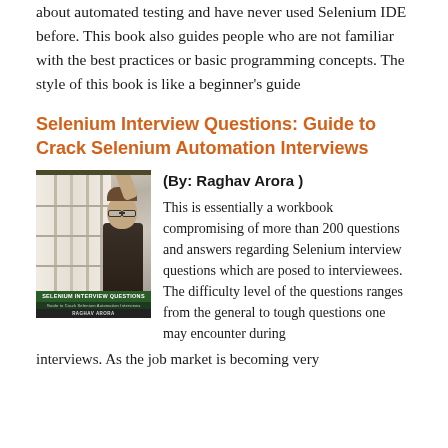about automated testing and have never used Selenium IDE before. This book also guides people who are not familiar with the best practices or basic programming concepts. The style of this book is like a beginner's guide
Selenium Interview Questions: Guide to Crack Selenium Automation Interviews
[Figure (photo): Book cover of 'Selenium Interview Questions: Guide to Crack Selenium Automation Interviews' by Raghav Arora, showing a woman with glasses reaching for books on a shelf]
(By: Raghav Arora )
This is essentially a workbook compromising of more than 200 questions and answers regarding Selenium interview questions which are posed to interviewees. The difficulty level of the questions ranges from the general to tough questions one may encounter during interviews. As the job market is becoming very